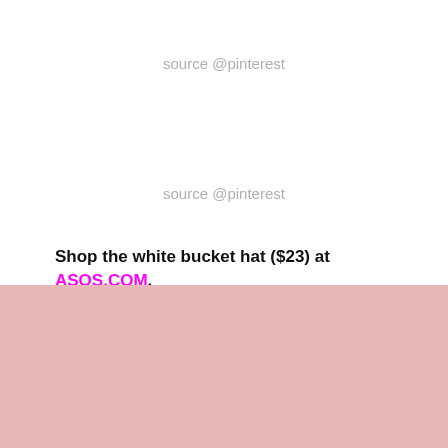source @pinterest
source @pinterest
Shop the white bucket hat ($23) at ASOS.COM.
source @pinterest
We use cookies on our website to give you the most relevant experience by remembering your preferences and repeat visits. By clicking "Accept All", you consent to the use of ALL the cookies. However, you may visit "Cookie Settings" to provide a controlled consent.